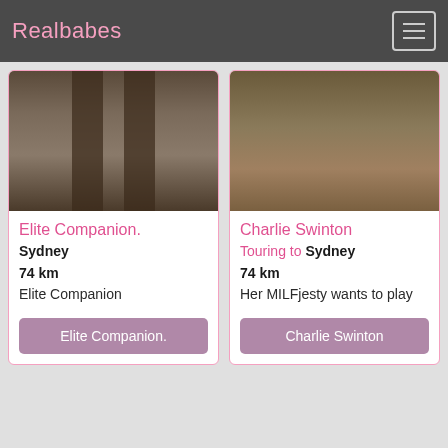Realbabes
[Figure (photo): Left card photo: legs in black stockings/thigh highs]
Elite Companion.
Sydney
74 km
Elite Companion
Elite Companion.
[Figure (photo): Right card photo: outdoor figure from behind]
Charlie Swinton
Touring to Sydney
74 km
Her MILFjesty wants to play
Charlie Swinton
[Figure (photo): Bottom left: black/dark image, partial listing card]
[Figure (photo): Bottom right: purple neon sign image, partial listing card]